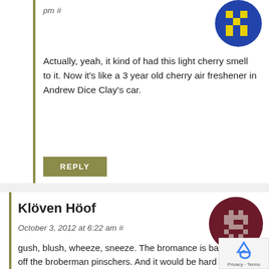pm #
[Figure (illustration): Blue circular avatar with yellow pixel-art robot/character logo]
Actually, yeah, it kind of had this light cherry smell to it. Now it's like a 3 year old cherry air freshener in Andrew Dice Clay's car.
REPLY
Klöven Höof
October 3, 2012 at 6:22 am #
[Figure (illustration): Dark maroon circular avatar with pixel-art space invader character]
gush, blush, wheeze, sneeze. The bromance is back, so call off the broberman pinschers. And it would be hard to totally torpedo